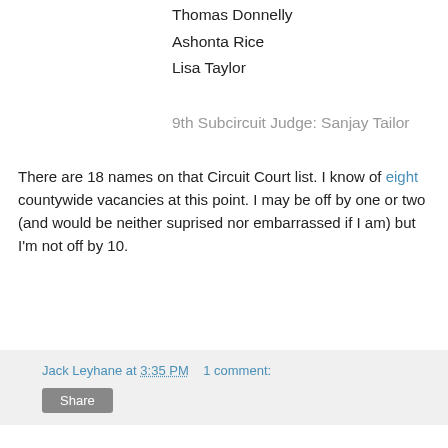Thomas Donnelly
Ashonta Rice
Lisa Taylor
9th Subcircuit Judge: Sanjay Tailor
There are 18 names on that Circuit Court list. I know of eight countywide vacancies at this point. I may be off by one or two (and would be neither suprised nor embarrassed if I am) but I'm not off by 10.
Jack Leyhane at 3:35 PM   1 comment:
Share
Thursday, December 09, 2021
Five ward committeemen write letter protesting loyalty pledge to Chairman Preckwinkle